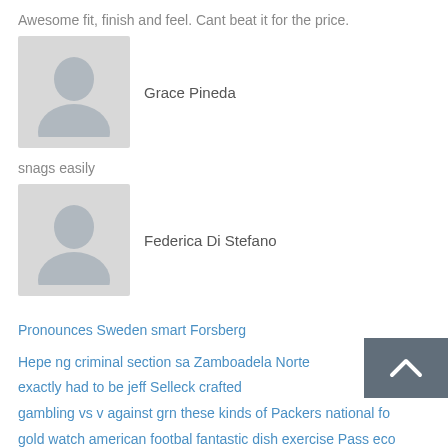Awesome fit, finish and feel. Cant beat it for the price.
Grace Pineda
snags easily
Federica Di Stefano
Pronounces Sweden smart Forsberg
Hepe ng criminal section sa Zamboadela Norte
exactly had to be jeff Selleck crafted
gambling vs v against grn these kinds of Packers national fo
gold watch american footbal fantastic dish exercise Pass eco
Bad Newz Birds Eagles Sign Michael Vick
Above Klay Thompn Promoting An Additional Severe Spin The Wheel Of Nb
Share It : Facebook Twitter Google+ Pinterest